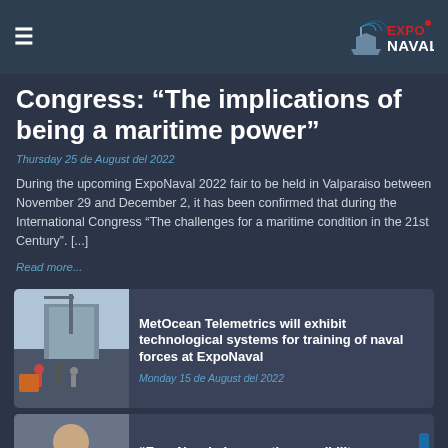ExpoNaval [logo]
Congress: “The implications of being a maritime power”
Thursday 25 de August del 2022
During the upcoming ExpoNaval 2022 fair to be held in Valparaiso between November 29 and December 2, it has been confirmed that during the International Congress “The challenges for a maritime condition in the 21st Century”. [...]
Read more...
[Figure (photo): Photo of people near maritime/crane equipment for MetOcean Telemetrics article]
MetOcean Telemetrics will exhibit technological systems for training of naval forces at ExpoNaval
Monday 15 de August del 2022
[Figure (photo): Photo of a person for ExpoNaval gives us the possibility article]
“ExpoNaval gives us the possibility